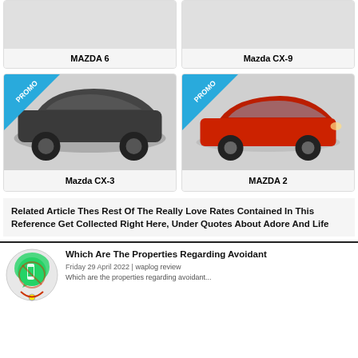MAZDA 6
Mazda CX-9
[Figure (photo): Mazda CX-3 car image with PROMO ribbon in top-left corner]
Mazda CX-3
[Figure (photo): MAZDA 2 red car image with PROMO ribbon in top-left corner]
MAZDA 2
Related Article Thes Rest Of The Really Love Rates Contained In This Reference Get Collected Right Here, Under Quotes About Adore And Life
[Figure (photo): WhatsApp-style phone icon graphic in circle with yellow/green colors]
Which Are The Properties Regarding Avoidant
Friday 29 April 2022 | waplog review
Which are the properties regarding avoidant...